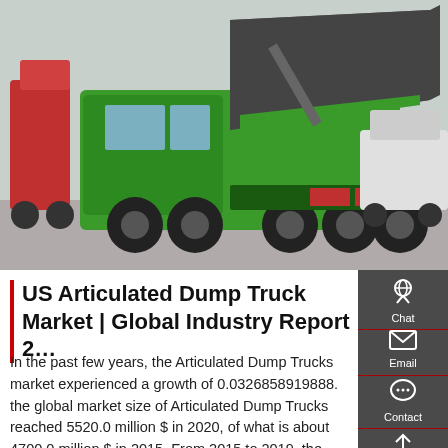[Figure (photo): Green articulated dump truck with raised dump bed in a parking area, other trucks visible in background]
US Articulated Dump Truck Market | Global Industry Report 2…
In the past few years, the Articulated Dump Trucks market experienced a growth of 0.0326858919888. the global market size of Articulated Dump Trucks reached 5520.0 million $ in 2020, of what is about 4700.0 million $ in 2015. From 2015 to 2019, the growth rate of global Articulated Dump Trucks market size was in the range of xxx%.